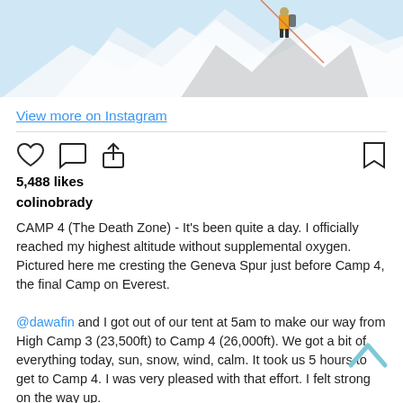[Figure (photo): Mountaineer climbing steep snowy ridge on Everest, blue sky, fixed ropes visible]
View more on Instagram
[Figure (infographic): Instagram action icons: heart, comment, share, bookmark]
5,488 likes
colinobrady
CAMP 4 (The Death Zone) - It's been quite a day. I officially reached my highest altitude without supplemental oxygen. Pictured here me cresting the Geneva Spur just before Camp 4, the final Camp on Everest.

@dawafin and I got out of our tent at 5am to make our way from High Camp 3 (23,500ft) to Camp 4 (26,000ft). We got a bit of everything today, sun, snow, wind, calm. It took us 5 hours to get to Camp 4. I was very pleased with that effort. I felt strong on the way up.

Camp 4 was a bit of a scene today as a few large teams were making their summit attempts. When we got to Camp 4 we could see climbers near the summit.